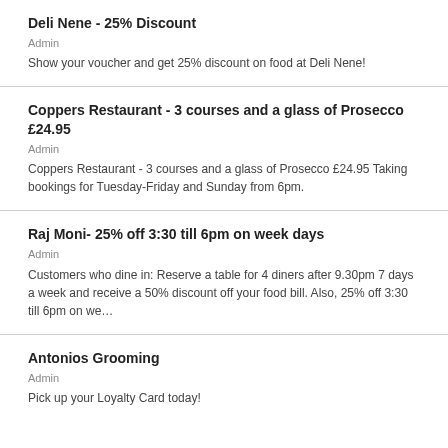Deli Nene - 25% Discount
Admin
Show your voucher and get 25% discount on food at Deli Nene!
Coppers Restaurant - 3 courses and a glass of Prosecco £24.95
Admin
Coppers Restaurant - 3 courses and a glass of Prosecco £24.95 Taking bookings for Tuesday-Friday and Sunday from 6pm.
Raj Moni- 25% off 3:30 till 6pm on week days
Admin
Customers who dine in: Reserve a table for 4 diners after 9.30pm 7 days a week and receive a 50% discount off your food bill. Also, 25% off 3:30 till 6pm on we…
Antonios Grooming
Admin
Pick up your Loyalty Card today!